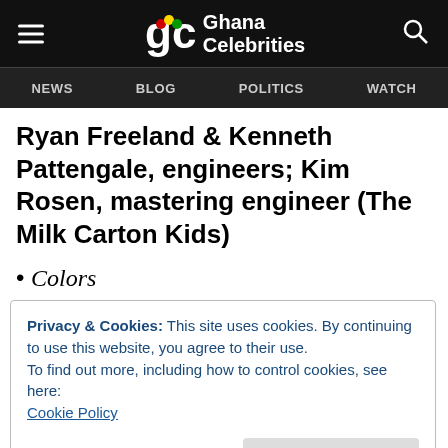Ghana Celebrities — NEWS  BLOG  POLITICS  WATCH
Ryan Freeland & Kenneth Pattengale, engineers; Kim Rosen, mastering engineer (The Milk Carton Kids)
• Colors
Julian Burg, Serban Ghenea, David “Elevator”
Privacy & Cookies: This site uses cookies. By continuing to use this website, you agree to their use. To find out more, including how to control cookies, see here: Cookie Policy
Close and Accept